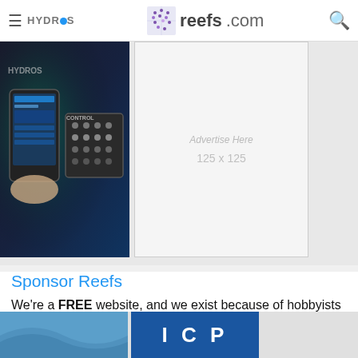reefs.com
[Figure (photo): HYDROS aquarium controller advertisement showing a smartphone and hardware device]
[Figure (other): Advertise here placeholder 125 x 125]
Sponsor Reefs
We're a FREE website, and we exist because of hobbyists like YOU who help us run this community.
Click here to sponsor $10:
[Figure (illustration): Support Us button with heart eyes and kissing face emojis]
[Figure (logo): Blue wave logo (left) and ICP blue square logo (right) at the bottom]